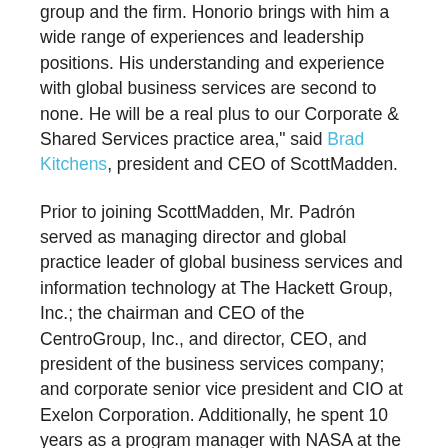group and the firm. Honorio brings with him a wide range of experiences and leadership positions. His understanding and experience with global business services are second to none. He will be a real plus to our Corporate & Shared Services practice area," said Brad Kitchens, president and CEO of ScottMadden.
Prior to joining ScottMadden, Mr. Padrón served as managing director and global practice leader of global business services and information technology at The Hackett Group, Inc.; the chairman and CEO of the CentroGroup, Inc., and director, CEO, and president of the business services company; and corporate senior vice president and CIO at Exelon Corporation. Additionally, he spent 10 years as a program manager with NASA at the Kennedy Space Center. Mr. Padrón earned a B.S. in electrical/biomedical engineering from the New Jersey Institute of Technology.
Apart from ScottMadden, Mr. Padrón serves on